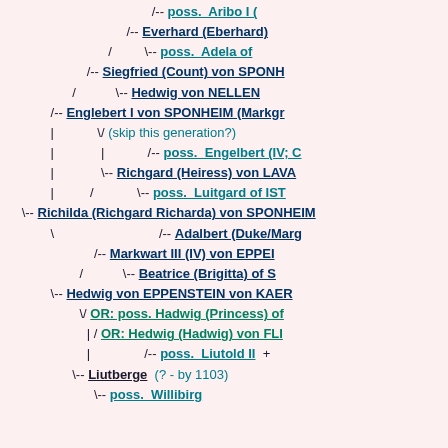[Figure (other): Genealogical tree showing ancestors of a noble family including Richilda (Richgard Richarda) von SPONHEIM and related figures such as Englebert I von SPONHEIM, Siegfried (Count) von SPONHEIM, Hedwig von NELLEN, Markwart III (IV) von EPPENSTEIN, Hedwig von EPPENSTEIN von KAER, Liutberge, and various 'poss.' (possible) ancestors with hyperlinks in teal/dark blue underlined text.]